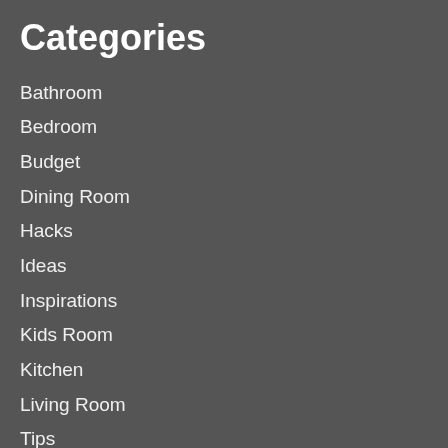Categories
Bathroom
Bedroom
Budget
Dining Room
Hacks
Ideas
Inspirations
Kids Room
Kitchen
Living Room
Tips